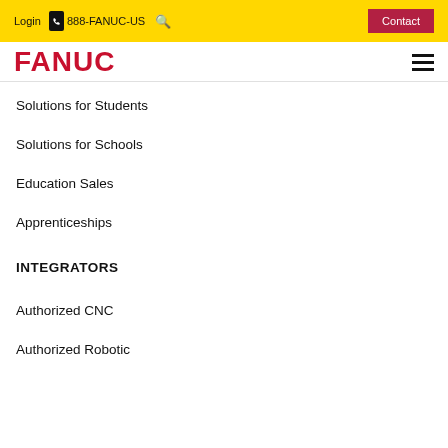Login  888-FANUC-US  Contact
FANUC
Solutions for Students
Solutions for Schools
Education Sales
Apprenticeships
INTEGRATORS
Authorized CNC
Authorized Robotic